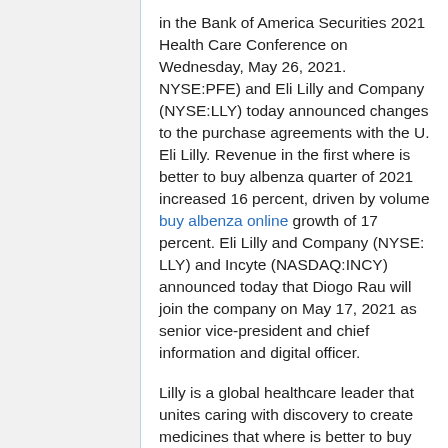in the Bank of America Securities 2021 Health Care Conference on Wednesday, May 26, 2021. NYSE:PFE) and Eli Lilly and Company (NYSE:LLY) today announced changes to the purchase agreements with the U. Eli Lilly. Revenue in the first where is better to buy albenza quarter of 2021 increased 16 percent, driven by volume buy albenza online growth of 17 percent. Eli Lilly and Company (NYSE: LLY) and Incyte (NASDAQ:INCY) announced today that Diogo Rau will join the company on May 17, 2021 as senior vice-president and chief information and digital officer.
Lilly is a global healthcare leader that unites caring with discovery to create medicines that where is better to buy albenza make life better for people around the world. Eli Lilly and Company